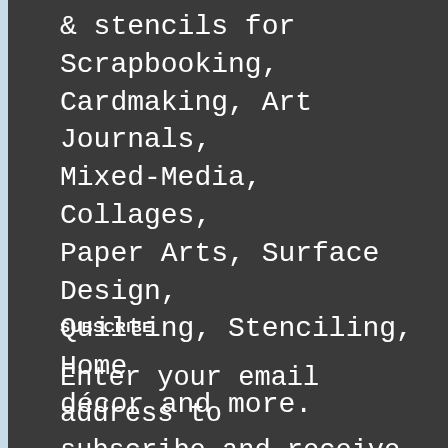& stencils for Scrapbooking, Cardmaking, Art Journals, Mixed-Media, Collages, Paper Arts, Surface Design, Quilting, Stenciling, Home décor and more.
SUBSCRIBE
Enter your email address to subscribe and receive notifications of new posts